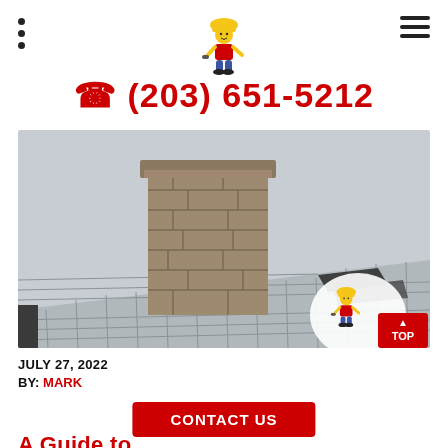Navigation header with menu dots, mascot logo, and hamburger menu
☎ (203) 651-5212
[Figure (photo): Photo of a damaged roof chimney with missing and displaced stone/brick blocks, and several lifted/displaced roof shingles visible. A company mascot (cartoon construction worker) is overlaid in the bottom-right corner along with a red TOP button.]
JULY 27, 2022
BY: MARK
CONTACT US
A Guide to...